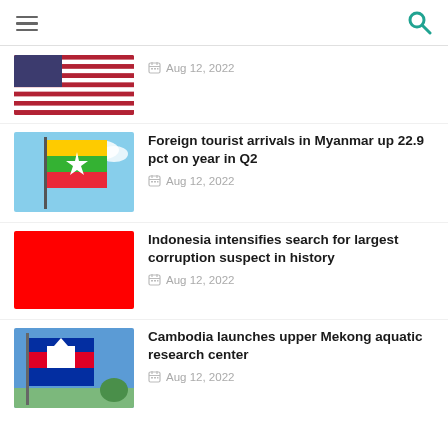Navigation header with hamburger menu and search icon
[Figure (photo): US flag photo (partially visible), cropped]
Aug 12, 2022
[Figure (photo): Myanmar flag waving against blue sky]
Foreign tourist arrivals in Myanmar up 22.9 pct on year in Q2
Aug 12, 2022
[Figure (photo): Red rectangle (placeholder image for Indonesia article)]
Indonesia intensifies search for largest corruption suspect in history
Aug 12, 2022
[Figure (photo): Cambodia flag against blue sky]
Cambodia launches upper Mekong aquatic research center
Aug 12, 2022